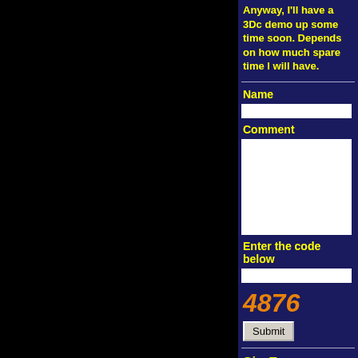Anyway, I'll have a 3Dc demo up some time soon. Depends on how much spare time I will have.
Name
Comment
Enter the code below
4876
Submit
GianT
Sunday, June 6, 2004